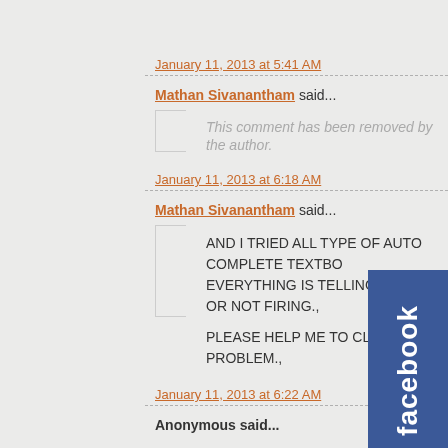January 11, 2013 at 5:41 AM
Mathan Sivanantham said...
This comment has been removed by the author.
January 11, 2013 at 6:18 AM
Mathan Sivanantham said...
AND I TRIED ALL TYPE OF AUTO COMPLETE TEXTBO EVERYTHING IS TELLING ERROR OR NOT FIRING., PLEASE HELP ME TO CLEAR THIS PROBLEM.,
January 11, 2013 at 6:22 AM
Anonymous said...